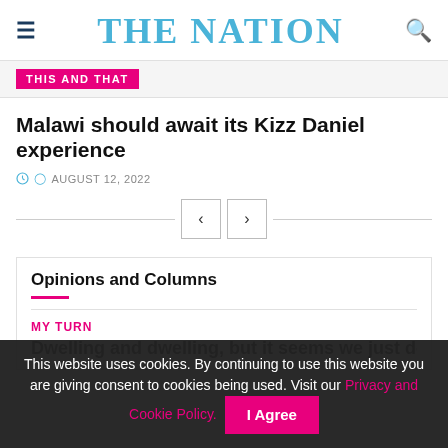THE NATION
THIS AND THAT
Malawi should await its Kizz Daniel experience
AUGUST 12, 2022
Opinions and Columns
MY TURN
This website uses cookies. By continuing to use this website you are giving consent to cookies being used. Visit our Privacy and Cookie Policy.